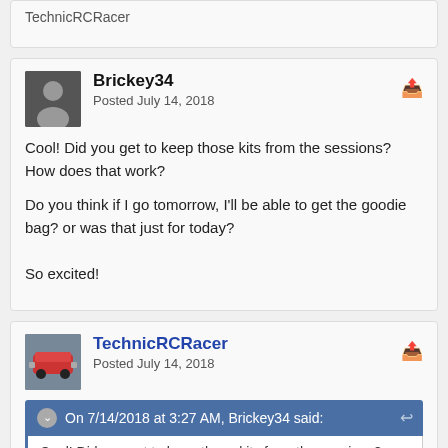TechnicRCRacer
Brickey34
Posted July 14, 2018
Cool! Did you get to keep those kits from the sessions? How does that work?
Do you think if I go tomorrow, I'll be able to get the goodie bag? or was that just for today?
So excited!
TechnicRCRacer
Posted July 14, 2018
On 7/14/2018 at 3:27 AM, Brickey34 said:
Cool! Did you get to keep those kits from the sessions?